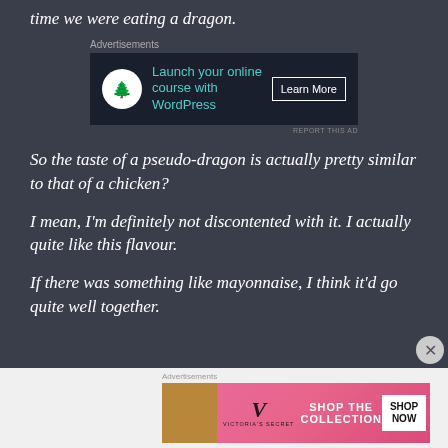time we were eating a dragon.
[Figure (screenshot): Advertisement banner: 'Launch your online course with WordPress' with Learn More button, dark navy background, tree icon.]
So the taste of a pseudo-dragon is actually pretty similar to that of a chicken?
I mean, I'm definitely not discontented with it. I actually quite like this flavour.
If there was something like mayonnaise, I think it'd go quite well together.
[Figure (screenshot): Victoria's Secret advertisement banner: SHOP THE COLLECTION / SHOP NOW button, pink background with model photo.]